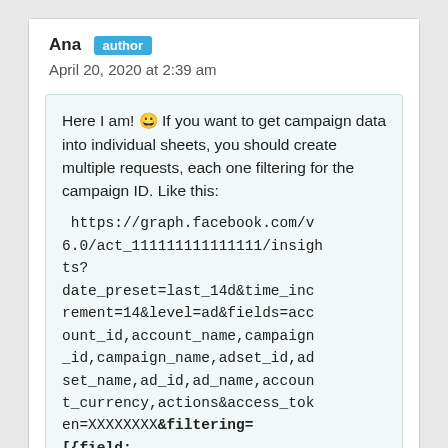Ana [author]
April 20, 2020 at 2:39 am
Here I am! 😀 If you want to get campaign data into individual sheets, you should create multiple requests, each one filtering for the campaign ID. Like this:
https://graph.facebook.com/v6.0/act_111111111111111/insights?
date_preset=last_14d&time_increment=14&level=ad&fields=account_id,account_name,campaign_id,campaign_name,adset_id,adset_name,ad_id,ad_name,account_currency,actions&access_token=XXXXXXXX&filtering=[{field:"campaign.id",operator:"IN",value:
['23843759602780045']}